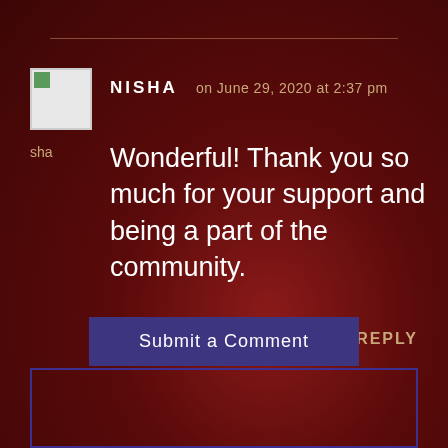[Figure (screenshot): Website comment section screenshot with dark reddish-brown background]
NISHA   on June 29, 2020 at 2:37 pm
Wonderful! Thank you so much for your support and being a part of the community.
REPLY
Submit a Comment